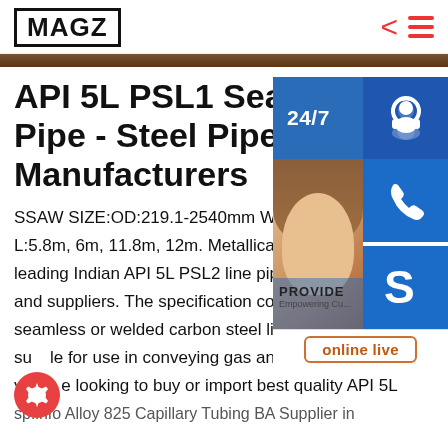MAGZ
API 5L PSL1 Seamless Pipe - Steel Pipes Manufacturers
SSAW SIZE:OD:219.1-2540mm WT:5. L:5.8m, 6m, 11.8m, 12m. Metallica is leading Indian API 5L PSL2 line pipe manufacturers and suppliers. The specification covers both seamless or welded carbon steel line pipe which is suitable for use in conveying gas and oil industry. If you are looking to buy or import best quality API 5L sp.info Alloy 825 Capillary Tubing BA Supplier in
[Figure (screenshot): Sidebar overlay showing 24/7 customer service panel with a woman wearing a headset, blue icon buttons for support, phone/Skype, a PROVIDE/Empowering Customers label, and an online live chat button. A red gear/settings floating button is visible at bottom left.]